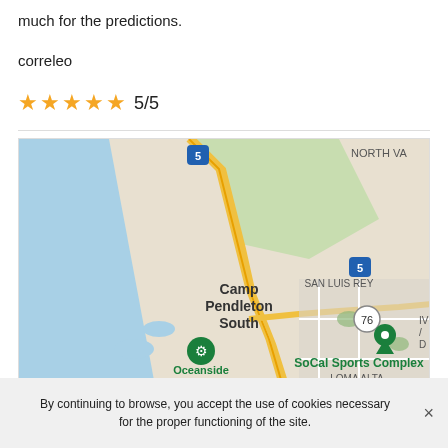much for the predictions.
correleo
★★★★★ 5/5
[Figure (map): Google Maps showing Camp Pendleton South, Oceanside Harbor Beach, SoCal Sports Complex, San Luis Rey, Loma Alta, and Oceanside area. Interstate 5 and Highway 76 visible.]
By continuing to browse, you accept the use of cookies necessary for the proper functioning of the site.